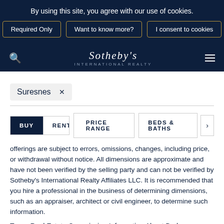By using this site, you agree with our use of cookies.
Required Only | Want to know more? | I consent to cookies
[Figure (logo): Sotheby's International Realty logo and navigation bar with search icon and hamburger menu]
Suresnes ×
BUY  RENT  PRICE RANGE  BEDS & BATHS  >
offerings are subject to errors, omissions, changes, including price, or withdrawal without notice. All dimensions are approximate and have not been verified by the selling party and can not be verified by Sotheby's International Realty Affiliates LLC. It is recommended that you hire a professional in the business of determining dimensions, such as an appraiser, architect or civil engineer, to determine such information.
Texas Real Estate Commission Information About Brokerage Services